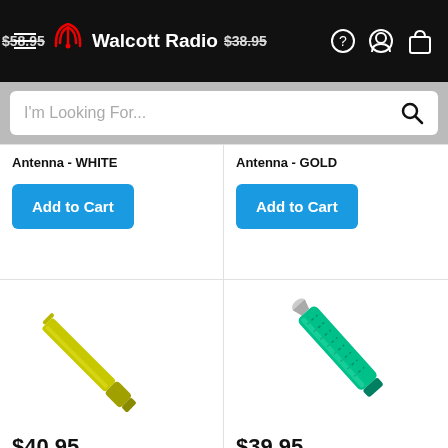Walcott Radio — $58.95 $38.95
I'm Looking For...
Antenna - WHITE
Add to Cart
Antenna - GOLD
Add to Cart
[Figure (photo): Gold Skipshooter S5-GOLD antenna, diagonal orientation on white background]
$40.95
Skipshooter S5-GOLD
[Figure (photo): Green Skipshooter S4.5-GREEN antenna, diagonal orientation on white background]
$39.95
Skipshooter S4.5-GREEN